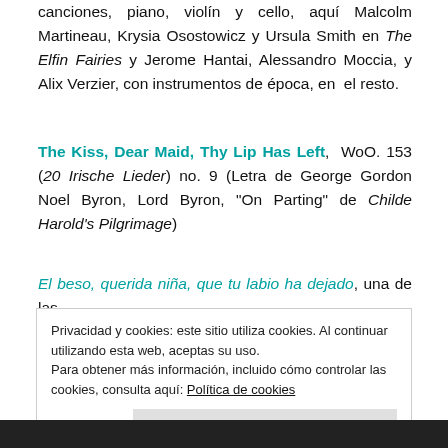canciones, piano, violín y cello, aquí Malcolm Martineau, Krysia Osostowicz y Ursula Smith en The Elfin Fairies y Jerome Hantai, Alessandro Moccia, y Alix Verzier, con instrumentos de época, en el resto.
The Kiss, Dear Maid, Thy Lip Has Left, WoO. 153 (20 Irische Lieder) no. 9 (Letra de George Gordon Noel Byron, Lord Byron, "On Parting" de Childe Harold's Pilgrimage)
El beso, querida niña, que tu labio ha dejado, una de las
Privacidad y cookies: este sitio utiliza cookies. Al continuar utilizando esta web, aceptas su uso.
Para obtener más información, incluido cómo controlar las cookies, consulta aquí: Política de cookies